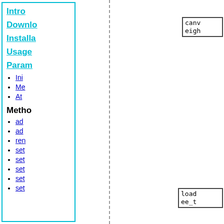Intro
Download
Installation
Usage
Parameters
Init
Methods
Attributes
Methods
add
add
remove
set
set
set
set
set
canv
eigh
load
ee_t